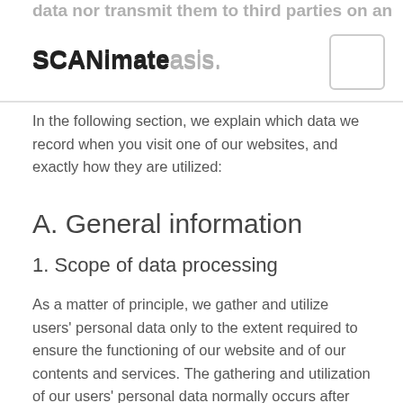data nor transmit them to third parties on an
SCANimate basis.
In the following section, we explain which data we record when you visit one of our websites, and exactly how they are utilized:
A. General information
1. Scope of data processing
As a matter of principle, we gather and utilize users' personal data only to the extent required to ensure the functioning of our website and of our contents and services. The gathering and utilization of our users' personal data normally occurs after users have granted their consent. An exception occurs where data processing is legally permitted.